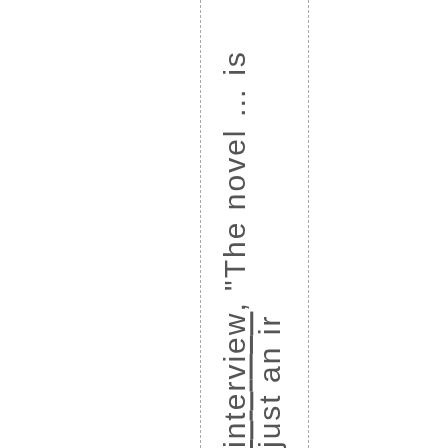interview, "The novel ... is just an ir